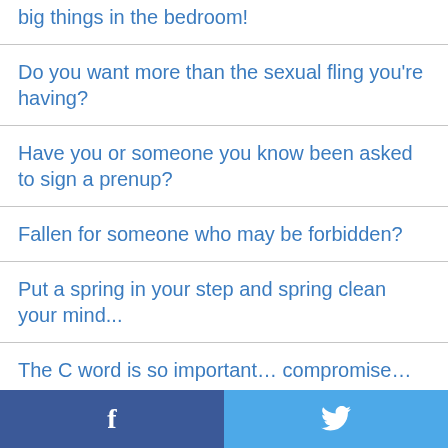big things in the bedroom!
Do you want more than the sexual fling you're having?
Have you or someone you know been asked to sign a prenup?
Fallen for someone who may be forbidden?
Put a spring in your step and spring clean your mind...
The C word is so important… compromise…
Is a grudge getting you down in the office?
Facebook | Twitter